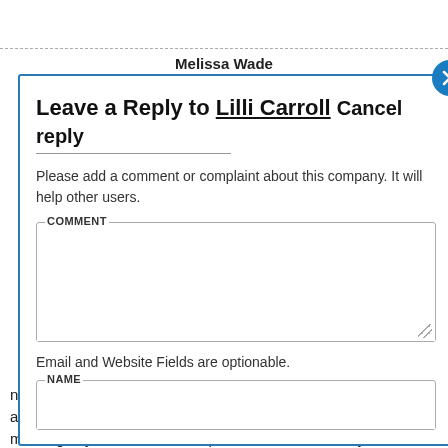Melissa Wade
Leave a Reply to Lilli Carroll Cancel reply
Please add a comment or complaint about this company. It will help other users.
COMMENT
Email and Website Fields are optionable.
NAME
never get my script filled-the pharmacist at 12-2am is very rude and always states that she can not fill them until 8 in the morning. If you can not fill script at these hours then you are not a 24 hour pharmacy. I have keep